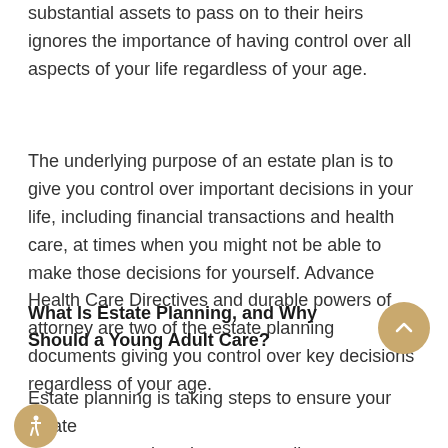substantial assets to pass on to their heirs ignores the importance of having control over all aspects of your life regardless of your age.
The underlying purpose of an estate plan is to give you control over important decisions in your life, including financial transactions and health care, at times when you might not be able to make those decisions for yourself. Advance Health Care Directives and durable powers of attorney are two of the estate planning documents giving you control over key decisions regardless of your age.
What Is Estate Planning, and Why Should a Young Adult Care?
Estate planning is taking steps to ensure your estate passes to your loved ones according to your wishes. It also includes taking measures to appoint someone to make